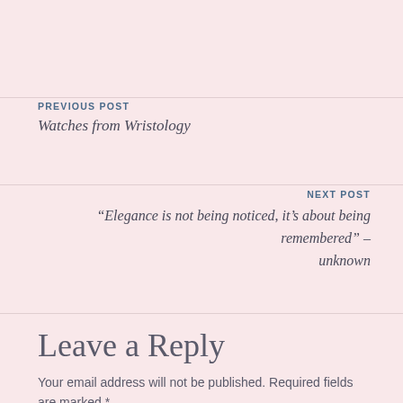PREVIOUS POST
Watches from Wristology
NEXT POST
“Elegance is not being noticed, it’s about being remembered” – unknown
Leave a Reply
Your email address will not be published. Required fields are marked *